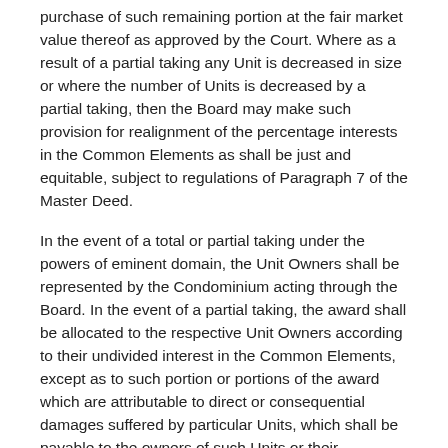purchase of such remaining portion at the fair market value thereof as approved by the Court. Where as a result of a partial taking any Unit is decreased in size or where the number of Units is decreased by a partial taking, then the Board may make such provision for realignment of the percentage interests in the Common Elements as shall be just and equitable, subject to regulations of Paragraph 7 of the Master Deed.
In the event of a total or partial taking under the powers of eminent domain, the Unit Owners shall be represented by the Condominium acting through the Board. In the event of a partial taking, the award shall be allocated to the respective Unit Owners according to their undivided interest in the Common Elements, except as to such portion or portions of the award which are attributable to direct or consequential damages suffered by particular Units, which shall be payable to the owners of such Units or their mortgagees, as their interests may appear. In the case of a total taking of all Units and the Common Elements, the